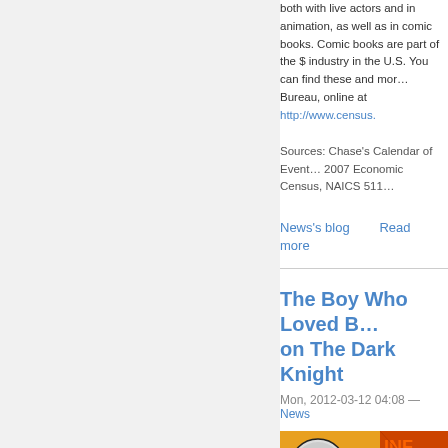both with live actors and in animation, as well as in comic books. Comic books are part of the $ industry in the U.S. You can find these and more at the Census Bureau, online at http://www.census.
Sources: Chase's Calendar of Events, Wikipedia, 2007 Economic Census, NAICS 511
News's blog    Read more
The Boy Who Loved B... on The Dark Knight
Mon, 2012-03-12 04:08 — News
[Figure (photo): Batman logo on yellow background with comic book imagery and old photograph below]